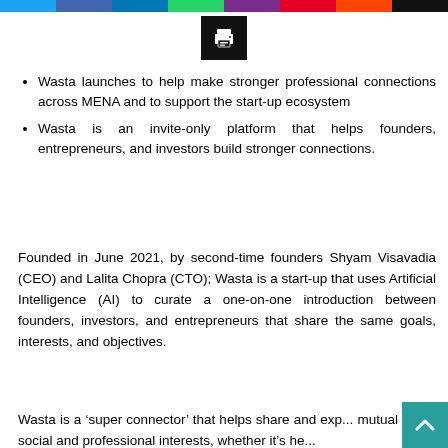[Figure (other): Row of social media share buttons (Twitter/blue, Facebook/purple, LinkedIn/blue, WhatsApp/green, another/purple, Pinterest/red, Reddit/orange, black) and a print button below them]
Wasta launches to help make stronger professional connections across MENA and to support the start-up ecosystem
Wasta is an invite-only platform that helps founders, entrepreneurs, and investors build stronger connections.
Founded in June 2021, by second-time founders Shyam Visavadia (CEO) and Lalita Chopra (CTO); Wasta is a start-up that uses Artificial Intelligence (AI) to curate a one-on-one introduction between founders, investors, and entrepreneurs that share the same goals, interests, and objectives.
Wasta is a ‘super connector’ that helps share and exp... mutual social and professional interests, whether it’s he...